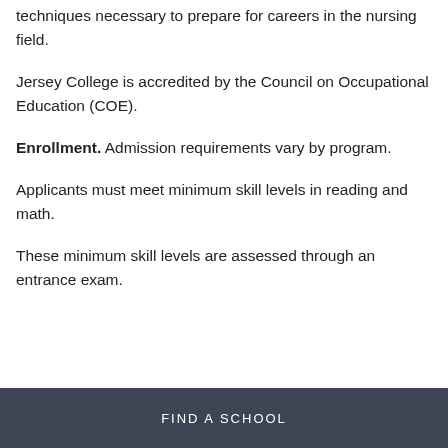techniques necessary to prepare for careers in the nursing field.
Jersey College is accredited by the Council on Occupational Education (COE).
Enrollment. Admission requirements vary by program.
Applicants must meet minimum skill levels in reading and math.
These minimum skill levels are assessed through an entrance exam.
FIND A SCHOOL